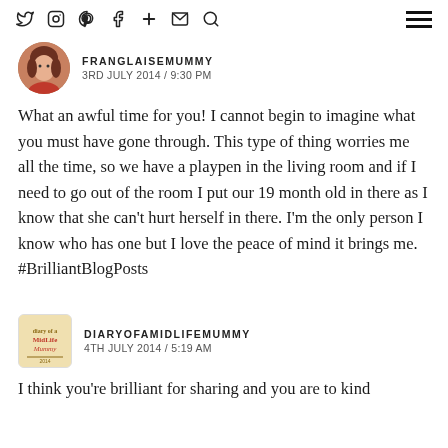Social icons: Twitter, Instagram, Pinterest, Facebook, Plus, Email, Search | Hamburger menu
FRANGLAISEMUMMY
3RD JULY 2014 / 9:30 PM
What an awful time for you! I cannot begin to imagine what you must have gone through. This type of thing worries me all the time, so we have a playpen in the living room and if I need to go out of the room I put our 19 month old in there as I know that she can't hurt herself in there. I'm the only person I know who has one but I love the peace of mind it brings me.
#BrilliantBlogPosts
DIARYOFAMIDLIFEMUMMY
4TH JULY 2014 / 5:19 AM
I think you're brilliant for sharing and you are to kind